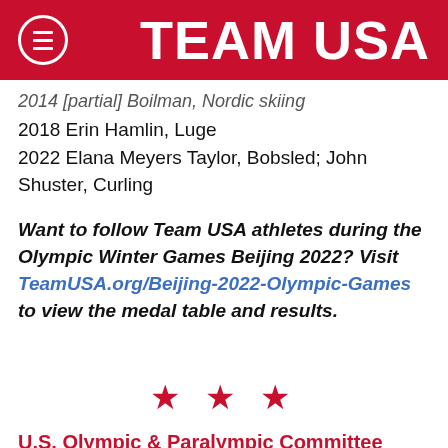TEAM USA
2014 [partial] Boilman, Nordic skiing
2018 Erin Hamlin, Luge
2022 Elana Meyers Taylor, Bobsled; John Shuster, Curling
Want to follow Team USA athletes during the Olympic Winter Games Beijing 2022? Visit TeamUSA.org/Beijing-2022-Olympic-Games to view the medal table and results.
★ ★ ★
U.S. Olympic & Paralympic Committee